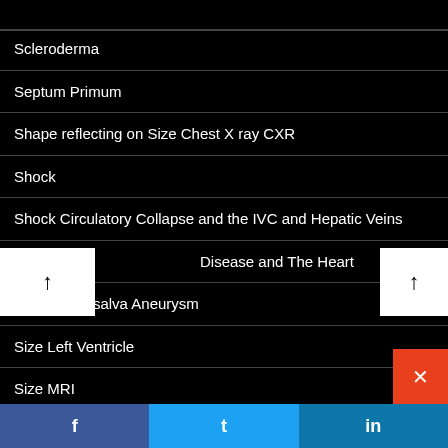Scleroderma
Septum Primum
Shape reflecting on Size Chest X ray CXR
Shock
Shock Circulatory Collapse and the IVC and Hepatic Veins
Disease and The Heart
Sinus of Valsalva Aneurysm
Size Left Ventricle
Size MRI
Size Pulmonary Artery CXR
Size RV CT